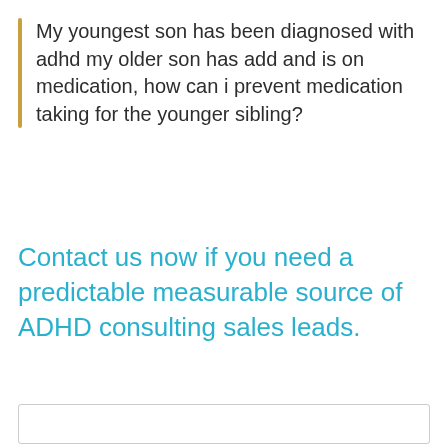My youngest son has been diagnosed with adhd my older son has add and is on medication, how can i prevent medication taking for the younger sibling?
Contact us now if you need a predictable measurable source of ADHD consulting sales leads.